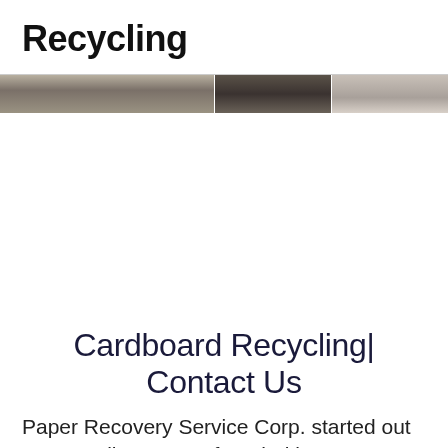Recycling
[Figure (photo): Horizontal photo strip showing cardboard/paper recycling imagery in three segments]
Cardboard Recycling| Contact Us
Paper Recovery Service Corp. started out as a small company founded in 1994. Paper Recovery quickly became the leading paper recycling choice, and even though it all started